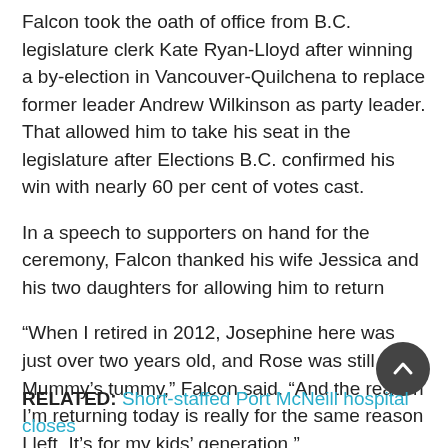Falcon took the oath of office from B.C. legislature clerk Kate Ryan-Lloyd after winning a by-election in Vancouver-Quilchena to replace former leader Andrew Wilkinson as party leader. That allowed him to take his seat in the legislature after Elections B.C. confirmed his win with nearly 60 per cent of votes cast.
In a speech to supporters on hand for the ceremony, Falcon thanked his wife Jessica and his two daughters for allowing him to return
“When I retired in 2012, Josephine here was just over two years old, and Rose was still in Mummy’s tummy,” Falcon said. “And the reason I’m returning today is really for the same reason I left. It’s for my kids’ generation.”
RELATED: Short-staffed Port McNeill hospital closes